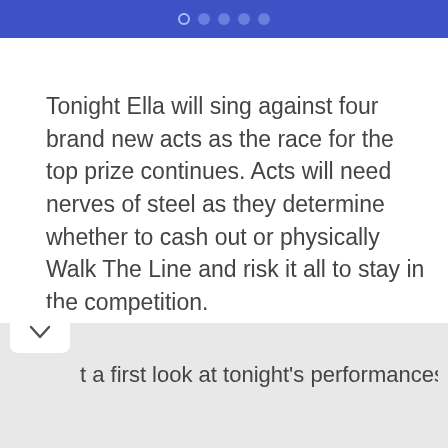● ● ● ● ●
Tonight Ella will sing against four brand new acts as the race for the top prize continues. Acts will need nerves of steel as they determine whether to cash out or physically Walk The Line and risk it all to stay in the competition.
Walk The Line will airs nightly at 8PM on ITV and ITV Hub 12 - 17 December.
t a first look at tonight's performances on Walk